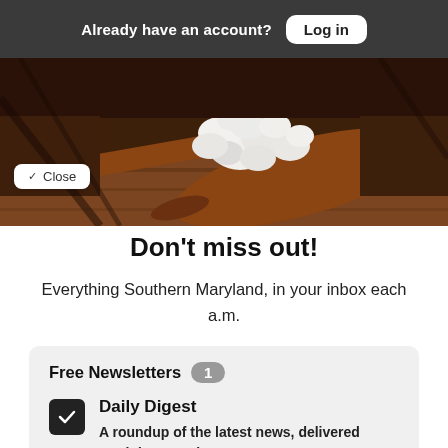Already have an account? Log in
[Figure (photo): Close-up photo of white lumpy food (popcorn or similar) on a wooden spoon against a dark background]
Close
Don't miss out!
Everything Southern Maryland, in your inbox each a.m.
Free Newsletters 1
Daily Digest
A roundup of the latest news, delivered weekday mornings.